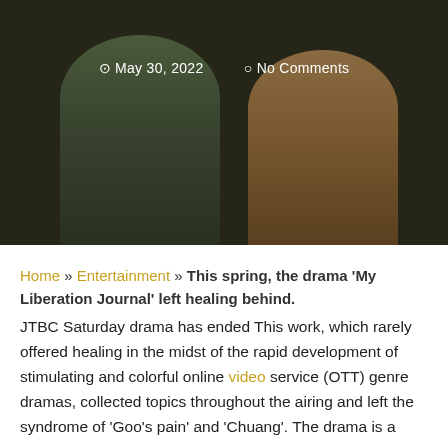[Figure (photo): Hero image showing two people seated against a dark background, overlaid with date and comment metadata. Date: May 30, 2022, No Comments.]
May 30, 2022   No Comments
Home » Entertainment » This spring, the drama 'My Liberation Journal' left healing behind.
JTBC Saturday drama has ended This work, which rarely offered healing in the midst of the rapid development of stimulating and colorful online video service (OTT) genre dramas, collected topics throughout the airing and left the syndrome of 'Goo's pain' and 'Chuang'. The drama is a TVN